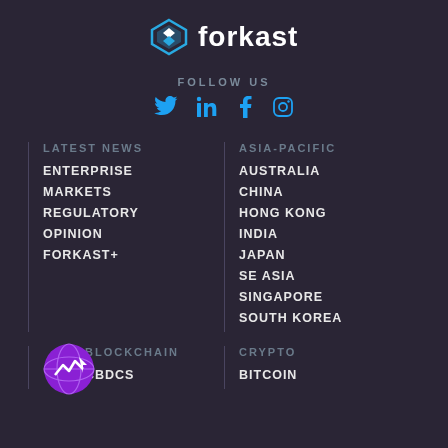[Figure (logo): Forkast logo with diamond/shield icon and wordmark 'forkast' in white]
FOLLOW US
[Figure (infographic): Social media icons: Twitter, LinkedIn, Facebook, Instagram in blue]
LATEST NEWS
ENTERPRISE
MARKETS
REGULATORY
OPINION
FORKAST+
ASIA-PACIFIC
AUSTRALIA
CHINA
HONG KONG
INDIA
JAPAN
SE ASIA
SINGAPORE
SOUTH KOREA
BLOCKCHAIN
CBDCS
CRYPTO
BITCOIN